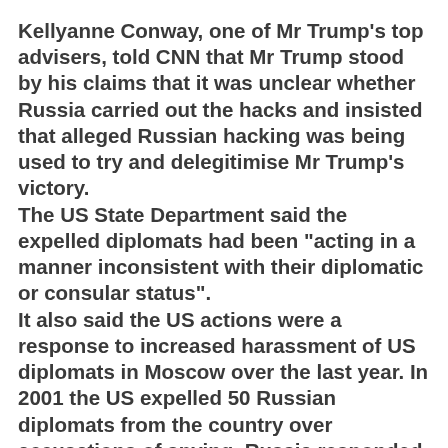Kellyanne Conway, one of Mr Trump's top advisers, told CNN that Mr Trump stood by his claims that it was unclear whether Russia carried out the hacks and insisted that alleged Russian hacking was being used to try and delegitimise Mr Trump's victory. The US State Department said the expelled diplomats had been "acting in a manner inconsistent with their diplomatic or consular status". It also said the US actions were a response to increased harassment of US diplomats in Moscow over the last year. In 2001 the US expelled 50 Russian diplomats from the country over accusations of spying. Russia responded in kind, ordering 50 US diplomats to leave its own country. The Russian Embassy in London added in its [text continues]